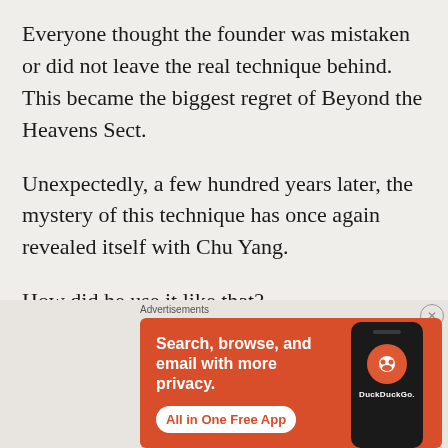Everyone thought the founder was mistaken or did not leave the real technique behind. This became the biggest regret of Beyond the Heavens Sect.
Unexpectedly, a few hundred years later, the mystery of this technique has once again revealed itself with Chu Yang.
How did he use it like that?
[Figure (screenshot): DuckDuckGo advertisement banner with orange background. Text reads 'Search, browse, and email with more privacy. All in One Free App' with a DuckDuckGo logo and phone image.]